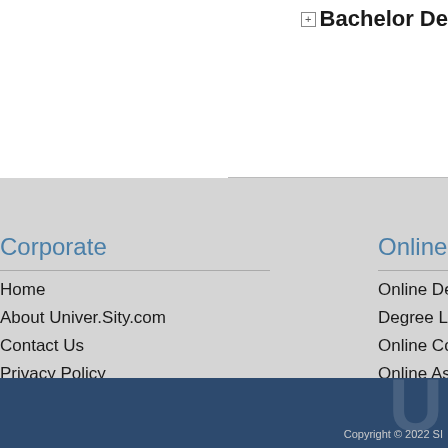Bachelor De...
Corporate
Home
About Univer.Sity.com
Contact Us
Privacy Policy
Online Degree Res...
Online Degrees
Degree Level
Online Colleges & Univers...
Online Associate Degrees
Online Bachelor Degrees
Online Master Programs
Online Doctorate/Phd Deg...
Copyright © 2022 SI...